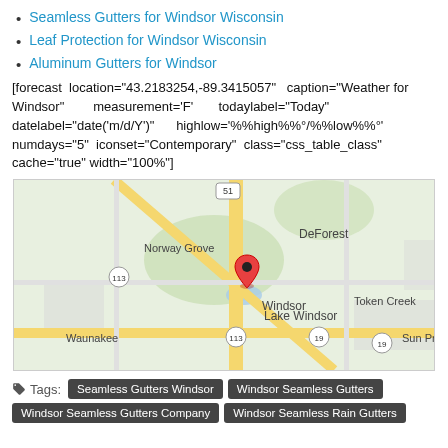Seamless Gutters for Windsor Wisconsin
Leaf Protection for Windsor Wisconsin
Aluminum Gutters for Windsor
[forecast location="43.2183254,-89.3415057" caption="Weather for Windsor" measurement='F' todaylabel="Today" datelabel="date('m/d/Y')" highlow='%%high%%°/%%low%%°' numdays="5" iconset="Contemporary" class="css_table_class" cache="true" width="100%"]
[Figure (map): Google Maps showing Windsor, Wisconsin area with surrounding localities: Norway Grove, DeForest, Lake Windsor, Waunakee, Token Creek, Sun Prairie. Roads 51, 113, 19 visible. Red map pin on Windsor.]
Tags: Seamless Gutters Windsor | Windsor Seamless Gutters | Windsor Seamless Gutters Company | Windsor Seamless Rain Gutters